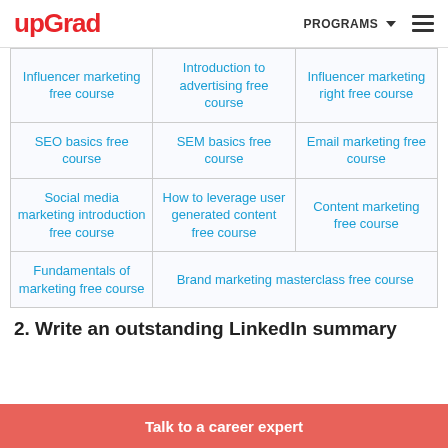upGrad | PROGRAMS
| Influencer marketing free course | Introduction to advertising free course | Influencer marketing right free course |
| SEO basics free course | SEM basics free course | Email marketing free course |
| Social media marketing introduction free course | How to leverage user generated content free course | Content marketing free course |
| Fundamentals of marketing free course | Brand marketing masterclass free course |  |
2. Write an outstanding LinkedIn summary
Talk to a career expert